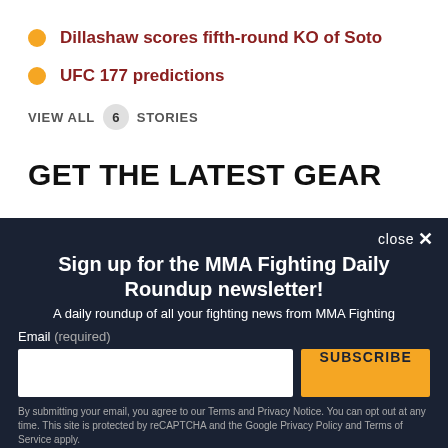Dillashaw scores fifth-round KO of Soto
UFC 177 predictions
VIEW ALL 6 STORIES
GET THE LATEST GEAR
Sign up for the MMA Fighting Daily Roundup newsletter!
A daily roundup of all your fighting news from MMA Fighting
Email (required)
SUBSCRIBE
By submitting your email, you agree to our Terms and Privacy Notice. You can opt out at any time. This site is protected by reCAPTCHA and the Google Privacy Policy and Terms of Service apply.